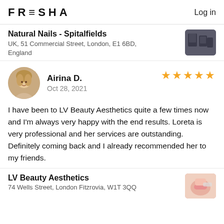FRESHA   Log in
Natural Nails - Spitalfields
UK, 51 Commercial Street, London, E1 6BD, England
Airina D.
Oct 28, 2021
★★★★★
I have been to LV Beauty Aesthetics quite a few times now and I'm always very happy with the end results. Loreta is very professional and her services are outstanding. Definitely coming back and I already recommended her to my friends.
LV Beauty Aesthetics
74 Wells Street, London Fitzrovia, W1T 3QQ